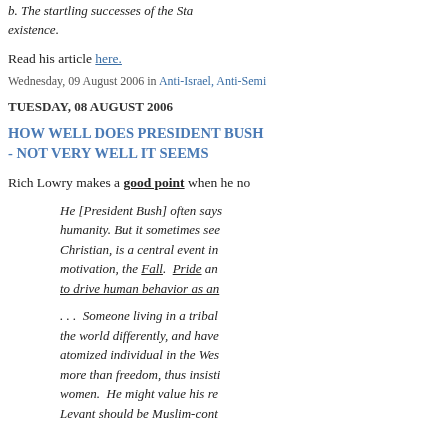b. The startling successes of the State... existence.
Read his article here.
Wednesday, 09 August 2006 in Anti-Israel, Anti-Semi...
TUESDAY, 08 AUGUST 2006
HOW WELL DOES PRESIDENT BUSH - NOT VERY WELL IT SEEMS
Rich Lowry makes a good point when he no...
He [President Bush] often says... motivation, the Fall. Pride and... to drive human behavior as an...
... Someone living in a tribal... the world differently, and have... atomized individual in the Wes... more than freedom, thus insisti... women. He might value his re... Levant should be Muslim-cont...